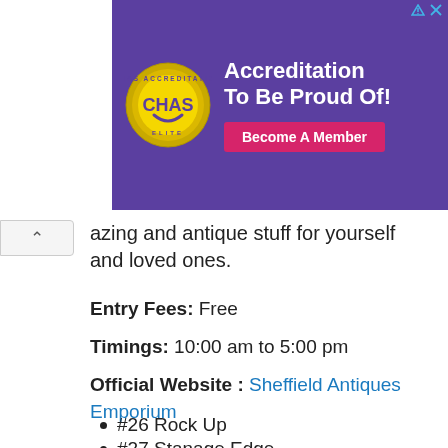[Figure (other): CHAS Accreditation advertisement banner with gold CHAS badge on purple background. Text reads 'Accreditation To Be Proud Of!' with pink 'Become A Member' button.]
azing and antique stuff for yourself and loved ones.
Entry Fees: Free
Timings: 10:00 am to 5:00 pm
Official Website : Sheffield Antiques Emporium
#26 Rock Up
#27 Stanage Edge
#28 Longshaw Estate
#29 Graves Park
#30 Weston Park M...